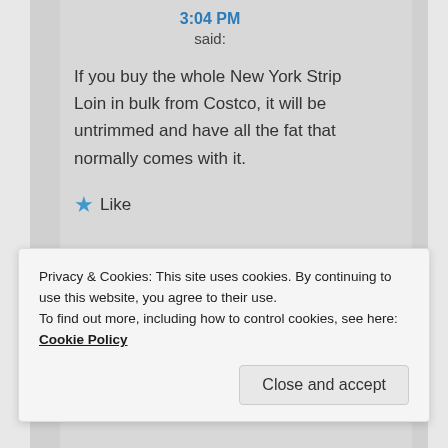3:04 PM
said:
If you buy the whole New York Strip Loin in bulk from Costco, it will be untrimmed and have all the fat that normally comes with it.
★ Like
Privacy & Cookies: This site uses cookies. By continuing to use this website, you agree to their use.
To find out more, including how to control cookies, see here: Cookie Policy
Close and accept